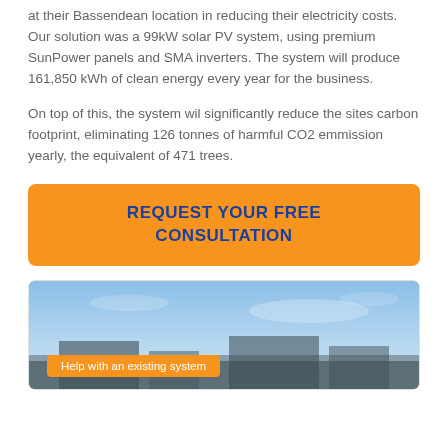at their Bassendean location in reducing their electricity costs. Our solution was a 99kW solar PV system, using premium SunPower panels and SMA inverters. The system will produce 161,850 kWh of clean energy every year for the business.
On top of this, the system wil significantly reduce the sites carbon footprint, eliminating 126 tonnes of harmful CO2 emmission yearly, the equivalent of 471 trees.
REQUEST YOUR FREE CONSULTATION
[Figure (photo): Outdoor photo showing a building rooftop or facility under a blue sky. An orange label at the bottom left reads 'Help with an existing system'.]